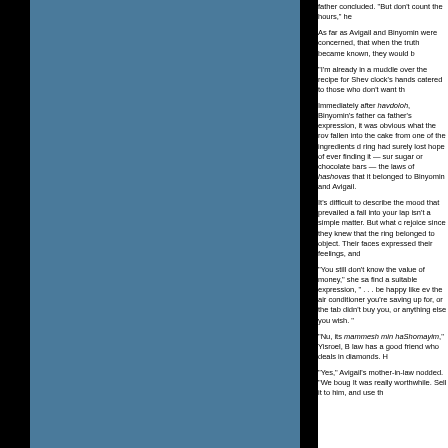father concluded. "But don't count the hours," he
As far as Avigail and Binyomin were concerned, that when the truth became known, they would b
"I'm already in a muddle over the recipe for Shev clock's hands catered to those who don't want th
Immediately after havdoloh, Binyomin's father ca father's expression, it was obvious what the rov fallen into the cake from one of the ingredients d ring had surely lost hope of ever finding it — sur sugar or chocolate bars — the laws of hashovas that it belonged to Binyomin and Avigail.
It's difficult to describe the mood that prevailed a fall into your lap isn't a simple matter. But what c rejoice since they knew that the ring belonged to object. Their faces expressed their feelings, and
"You still don't know the value of money," she sa find a suitable expression, " . . . be happy like ev the air conditioner you're saving up for, or the tab didn't buy you, or anything else you wish. "
"Nu, its mammesh min haShomayim," Yisroel, B law has a good friend who deals in diamonds. H
"Yes," Avigail's mother-in-law nodded. "We boug It was really worthwhile. Sell it to him, and use th